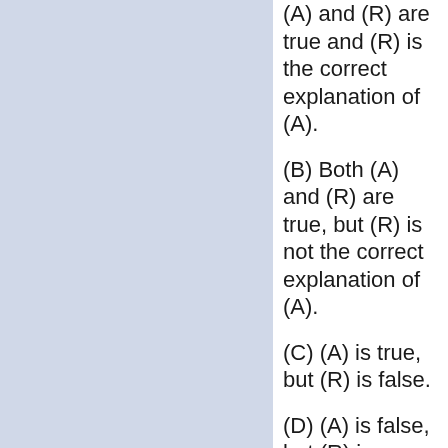(A) and (R) are true and (R) is the correct explanation of (A).
(B) Both (A) and (R) are true, but (R) is not the correct explanation of (A).
(C) (A) is true, but (R) is false.
(D) (A) is false, but (R) is